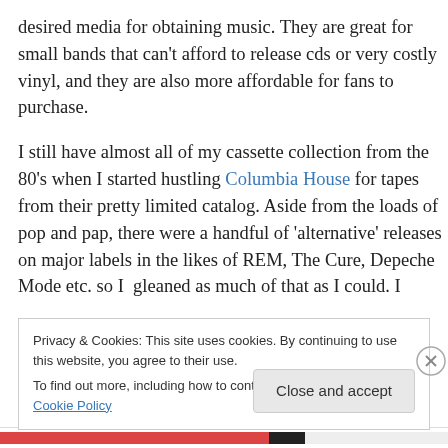desired media for obtaining music. They are great for small bands that can't afford to release cds or very costly vinyl, and they are also more affordable for fans to purchase.
I still have almost all of my cassette collection from the 80's when I started hustling Columbia House for tapes from their pretty limited catalog. Aside from the loads of pop and pap, there were a handful of 'alternative' releases on major labels in the likes of REM, The Cure, Depeche Mode etc. so I  gleaned as much of that as I could. I
Privacy & Cookies: This site uses cookies. By continuing to use this website, you agree to their use.
To find out more, including how to control cookies, see here: Cookie Policy